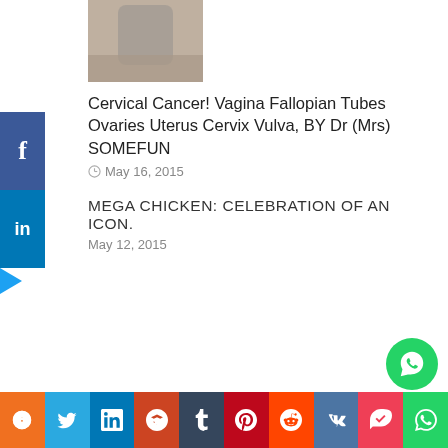[Figure (photo): Partial thumbnail image of a person, cropped at top]
Cervical Cancer! Vagina Fallopian Tubes Ovaries Uterus Cervix Vulva, BY Dr (Mrs) SOMEFUN
May 16, 2015
MEGA CHICKEN: CELEBRATION OF AN ICON.
May 12, 2015